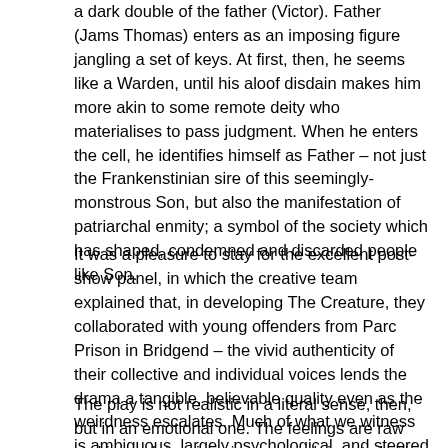a dark double of the father (Victor). Father (Jams Thomas) enters as an imposing figure jangling a set of keys. At first, then, he seems like a Warden, until his aloof disdain makes him more akin to some remote deity who materialises to pass judgment. When he enters the cell, he identifies himself as Father – not just the Frankenstinian sire of this seemingly-monstrous Son, but also the manifestation of patriarchal enmity; a symbol of the society which has shaped, condemned and discarded people like Son.
It was a pleasure to stay for the excellent post-show panel, in which the creative team explained that, in developing The Creature, they collaborated with young offenders from Parc Prison in Bridgend – the vivid authenticity of their collective and individual voices lends the drama a tangible, believable quality even as the weirdness escalates. Much of what we witness is ambiguous, largely psychological, and steered by an unreliable narrator who leaves us in doubt as to whether what we have seen actually takes place in reality.
The play is not realistic in a literal sense, then, but in an emotional one. The feelings are raw and jagged; tension simmers and rises to boiling point, but there is no relief or release – because this is a snapshot into the mind of